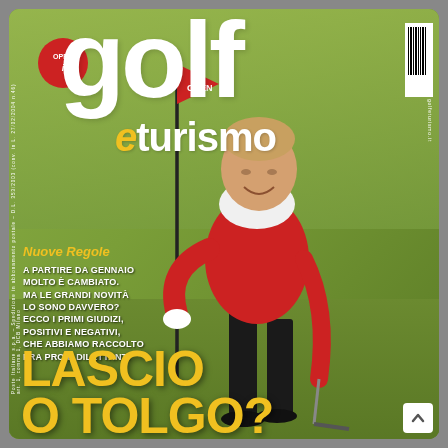[Figure (photo): Golf magazine cover showing a man in red vest and black trousers leaning on a golf flag pole on a golf course green. Background is a grass course. Magazine title 'golf turismo' at the top. Red flag visible top left.]
golf turismo
Nuove Regole
A PARTIRE DA GENNAIO MOLTO È CAMBIATO. MA LE GRANDI NOVITÀ LO SONO DAVVERO? ECCO I PRIMI GIUDIZI, POSITIVI E NEGATIVI, CHE ABBIAMO RACCOLTO FRA PRO E DILETTANTI
LASCIO O TOLGO?